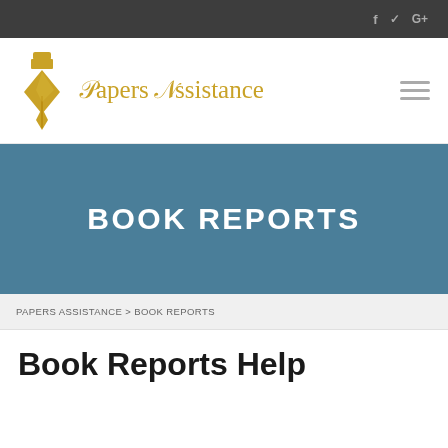f  ✓  G+
[Figure (logo): Papers Assistance logo with golden pen nib icon and blackletter text 'Papers Assistance']
BOOK REPORTS
PAPERS ASSISTANCE > BOOK REPORTS
Book Reports Help